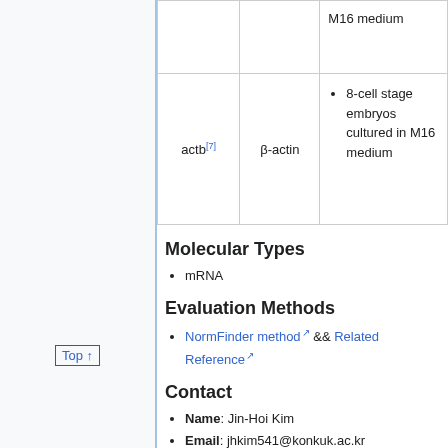|  |  | M16 medium |
| actb[7] | β-actin | 8-cell stage embryos cultured in M16 medium |
Molecular Types
mRNA
Evaluation Methods
NormFinder method && Related Reference
Contact
Name: Jin-Hoi Kim
Email: jhkim541@konkuk.ac.kr
Institution: Department of Animal